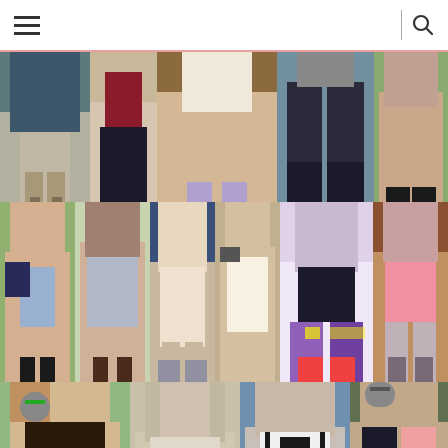Navigation header with hamburger menu and search icon
[Figure (photo): Fashion photo collage grid showing women in various outfits including casual wear, shorts, boots, leggings, dresses, and street style looks. Three rows of photos: top row has 5 photos of outfit details and full looks, middle row has 6 photos of women in casual summer outfits, bottom row has 4 photos of women in street style looks.]